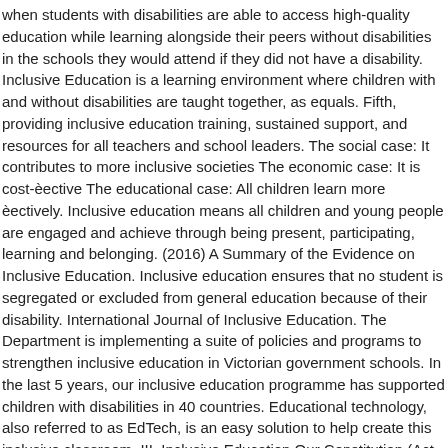when students with disabilities are able to access high-quality education while learning alongside their peers without disabilities in the schools they would attend if they did not have a disability. Inclusive Education is a learning environment where children with and without disabilities are taught together, as equals. Fifth, providing inclusive education training, sustained support, and resources for all teachers and school leaders. The social case: It contributes to more inclusive societies The economic case: It is cost-effective The educational case: All children learn more effectively. Inclusive education means all children and young people are engaged and achieve through being present, participating, learning and belonging. (2016) A Summary of the Evidence on Inclusive Education. Inclusive education ensures that no student is segregated or excluded from general education because of their disability. International Journal of Inclusive Education. The Department is implementing a suite of policies and programs to strengthen inclusive education in Victorian government schools. In the last 5 years, our inclusive education programme has supported children with disabilities in 40 countries. Educational technology, also referred to as EdTech, is an easy solution to help create this inclusive classroom. III. Inclusive Education Our Constitution (Act 108 of 1996) founded our democratic state and